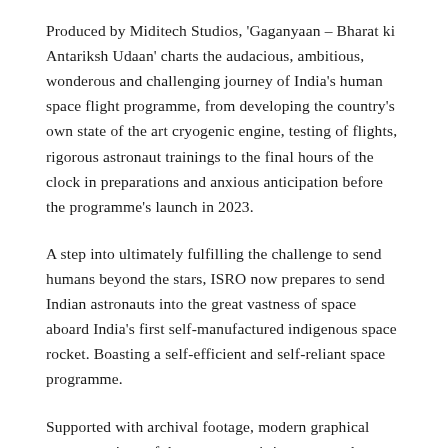Produced by Miditech Studios, 'Gaganyaan – Bharat ki Antariksh Udaan' charts the audacious, ambitious, wonderous and challenging journey of India's human space flight programme, from developing the country's own state of the art cryogenic engine, testing of flights, rigorous astronaut trainings to the final hours of the clock in preparations and anxious anticipation before the programme's launch in 2023.
A step into ultimately fulfilling the challenge to send humans beyond the stars, ISRO now prepares to send Indian astronauts into the great vastness of space aboard India's first self-manufactured indigenous space rocket. Boasting a self-efficient and self-reliant space programme.
Supported with archival footage, modern graphical representations of the programme's innate complex